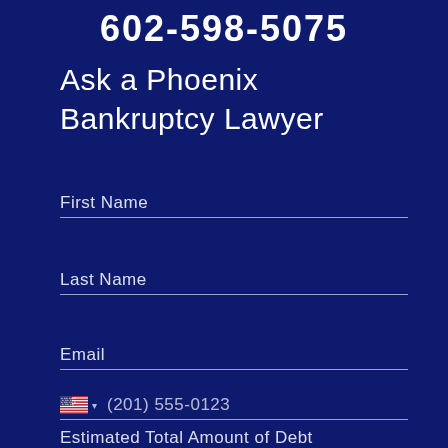602-598-5075
Ask a Phoenix Bankruptcy Lawyer
First Name
Last Name
Email
(201) 555-0123
Estimated Total Amount of Debt